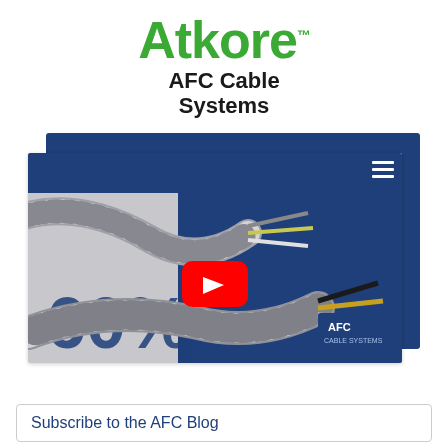[Figure (logo): Atkore logo in green text with trademark symbol, followed by 'AFC Cable Systems' in bold black text below]
[Figure (screenshot): Screenshot of AFC Cable Systems website showing armored metal cables (MC cable) with a YouTube play button overlay. The website has a dark blue header with hamburger menu. The cable image shows two armored/spiral-wrapped electrical cables with wire ends exposed. A '60%' text is partially visible in blue. AFC Cable Systems logo appears in bottom right.]
Subscribe to the AFC Blog